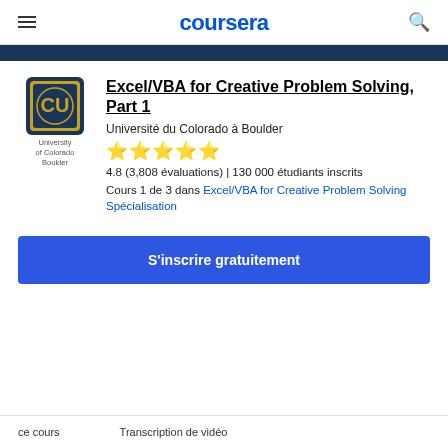coursera
[Figure (logo): University of Colorado Boulder logo with CU emblem and text]
Excel/VBA for Creative Problem Solving, Part 1
Université du Colorado à Boulder
[Figure (other): 5 gold stars rating]
4.8 (3,808 évaluations) | 130 000 étudiants inscrits
Cours 1 de 3 dans Excel/VBA for Creative Problem Solving Spécialisation
S'inscrire gratuitement
ce cours    Transcription de vidéo